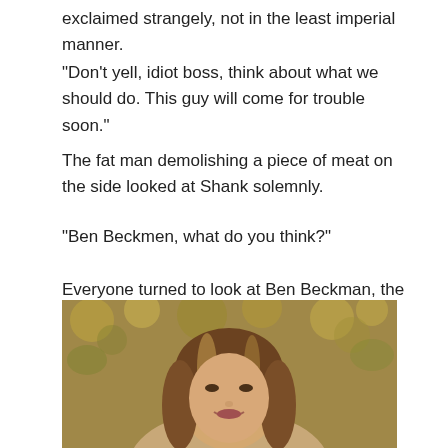exclaimed strangely, not in the least imperial manner.
“Don’t yell, idiot boss, think about what we should do. This guy will come for trouble soon.”
The fat man demolishing a piece of meat on the side looked at Shank solemnly.
“Ben Beckmen, what do you think?”
Everyone turned to look at Ben Beckman, the vice-captain of the Red-Hair Pirate Group.
[Figure (photo): A smiling woman with long brown hair with highlights, photographed outdoors with a blurred natural background of trees and bokeh lighting.]